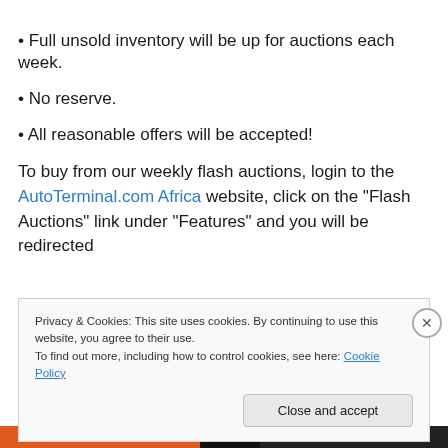• Full unsold inventory will be up for auctions each week.
• No reserve.
• All reasonable offers will be accepted!
To buy from our weekly flash auctions, login to the AutoTerminal.com Africa website, click on the “Flash Auctions” link under “Features” and you will be redirected
Privacy & Cookies: This site uses cookies. By continuing to use this website, you agree to their use.
To find out more, including how to control cookies, see here: Cookie Policy
Close and accept